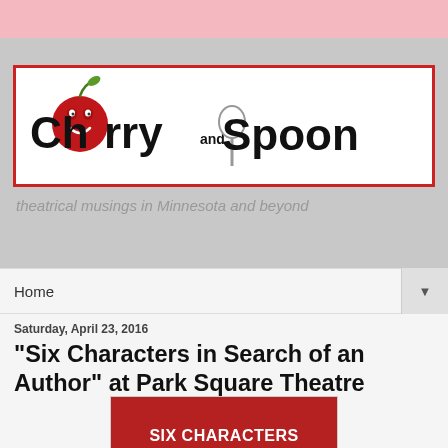[Figure (logo): Cherry and Spoon logo — a large red cherry with a smiley face replacing the letter O in Cherry, with a spoon underneath forming part of the text, in bold black lettering on white background with red border]
theatrical musings in Minnesota and beyond
Home ▼
Saturday, April 23, 2016
"Six Characters in Search of an Author" at Park Square Theatre
[Figure (photo): Poster for Six Characters in Search of an Author — red background with large white bold text reading SIX CHARACTERS IN SEARCH OF AN AUTHOR, subtitle By Luigi Pirandello, Adapted and Directed by Alan Berks]